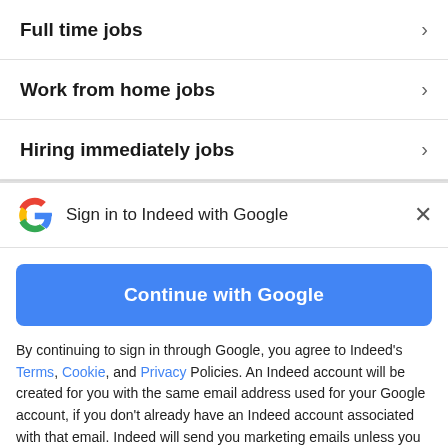Full time jobs
Work from home jobs
Hiring immediately jobs
Sign in to Indeed with Google
Continue with Google
By continuing to sign in through Google, you agree to Indeed's Terms, Cookie, and Privacy Policies. An Indeed account will be created for you with the same email address used for your Google account, if you don't already have an Indeed account associated with that email. Indeed will send you marketing emails unless you object to these and you can unsubscribe at any time.